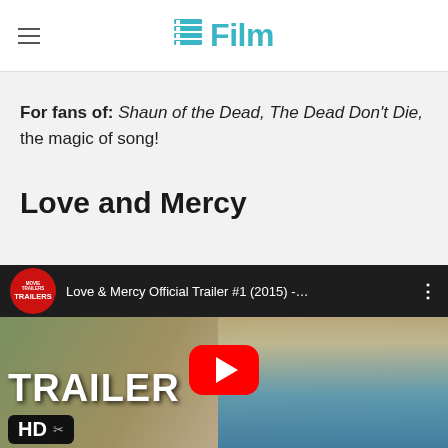/Film
For fans of: Shaun of the Dead, The Dead Don't Die, the magic of song!
Love and Mercy
[Figure (screenshot): YouTube video thumbnail for 'Love & Mercy Official Trailer #1 (2015)' showing a woman with blonde hair, with TRAILER text overlay and HD badge, and a red YouTube play button in the center.]